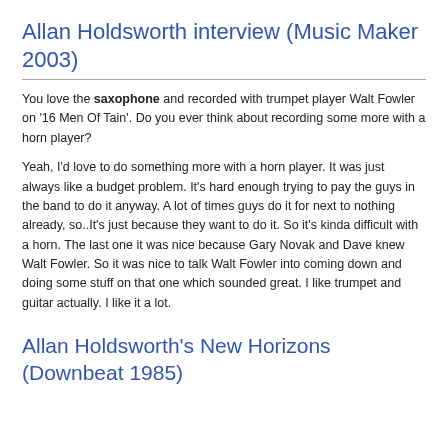Allan Holdsworth interview (Music Maker 2003)
You love the saxophone and recorded with trumpet player Walt Fowler on ‘16 Men Of Tain’. Do you ever think about recording some more with a horn player?
Yeah, I’d love to do something more with a horn player. It was just always like a budget problem. It’s hard enough trying to pay the guys in the band to do it anyway. A lot of times guys do it for next to nothing already, so..It’s just because they want to do it. So it’s kinda difficult with a horn. The last one it was nice because Gary Novak and Dave knew Walt Fowler. So it was nice to talk Walt Fowler into coming down and doing some stuff on that one which sounded great. I like trumpet and guitar actually. I like it a lot.
Allan Holdsworth’s New Horizons (Downbeat 1985)